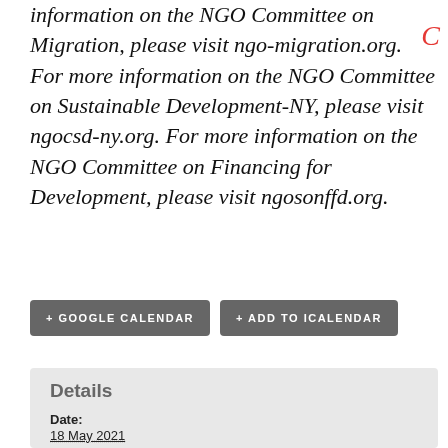information on the NGO Committee on Migration, please visit ngo-migration.org. For more information on the NGO Committee on Sustainable Development-NY, please visit ngocsd-ny.org. For more information on the NGO Committee on Financing for Development, please visit ngosonffd.org.
+ GOOGLE CALENDAR
+ ADD TO ICALENDAR
Details
Date: 18 May 2021
Time: 12:10 PM - 1:00 PM UTC+0
Cost: Free